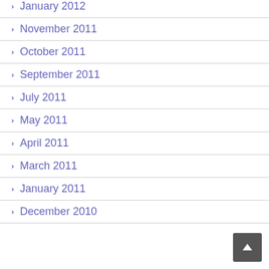January 2012
November 2011
October 2011
September 2011
July 2011
May 2011
April 2011
March 2011
January 2011
December 2010